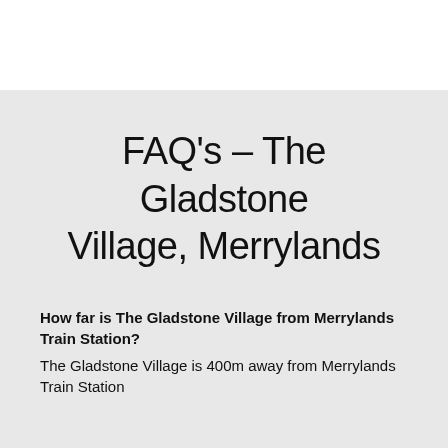FAQ's – The Gladstone Village, Merrylands
How far is The Gladstone Village from Merrylands Train Station?
The Gladstone Village is 400m away from Merrylands Train Station